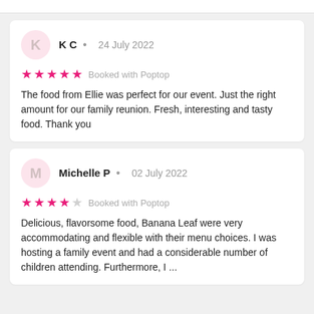K C  •  24 July 2022
★★★★★ Booked with Poptop
The food from Ellie was perfect for our event. Just the right amount for our family reunion. Fresh, interesting and tasty food. Thank you
Michelle P  •  02 July 2022
★★★★☆ Booked with Poptop
Delicious, flavorsome food, Banana Leaf were very accommodating and flexible with their menu choices. I was hosting a family event and had a considerable number of children attending. Furthermore, I ...